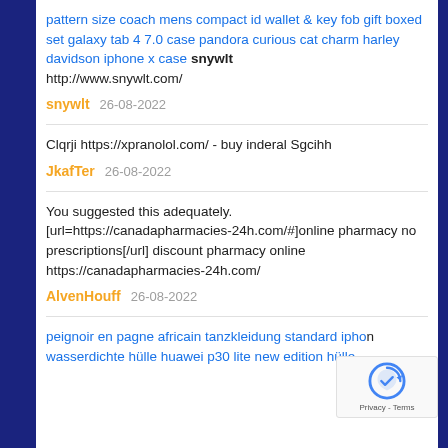pattern size coach mens compact id wallet & key fob gift boxed set galaxy tab 4 7.0 case pandora curious cat charm harley davidson iphone x case snywlt http://www.snywlt.com/
snywlt   26-08-2022
Clqrji https://xpranolol.com/ - buy inderal Sgcihh
JkafTer   26-08-2022
You suggested this adequately. [url=https://canadapharmacies-24h.com/#]online pharmacy no prescriptions[/url] discount pharmacy online https://canadapharmacies-24h.com/
AlvenHouff   26-08-2022
peignoir en pagne africain tanzkleidung standard iphone wasserdichte hülle huawei p30 lite new edition hülle